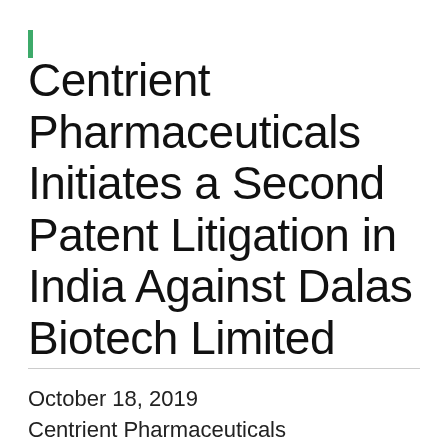Centrient Pharmaceuticals Initiates a Second Patent Litigation in India Against Dalas Biotech Limited
October 18, 2019
Centrient Pharmaceuticals